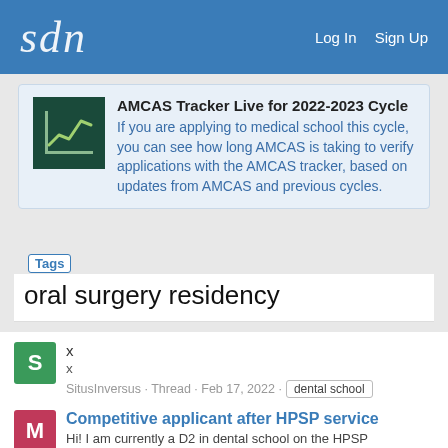sdn  Log In  Sign Up
[Figure (infographic): AMCAS Tracker banner with line chart icon and description text]
Tags
oral surgery residency
x
x
SitusInversus · Thread · Feb 17, 2022 · dental school  dentistry  omfs  omfs residency  oral surgery  oral surgery residency
Replies: 2 · Forum: Dental Residents and Practicing Dentists
Competitive applicant after HPSP service
Hi! I am currently a D2 in dental school on the HPSP scholarship. I